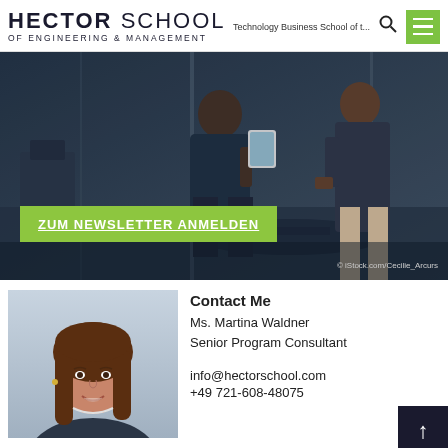HECTOR SCHOOL OF ENGINEERING & MANAGEMENT | Technology Business School of t...
[Figure (photo): Hero image: Two people in a glass-walled meeting room, one holding a tablet. Green newsletter call-to-action button overlay reading 'ZUM NEWSLETTER ANMELDEN'. Credit: iStock.com/Cecilie_Arcurs]
[Figure (photo): Portrait photo of Ms. Martina Waldner, Senior Program Consultant at Hector School]
Contact Me
Ms. Martina Waldner
Senior Program Consultant

info@hectorschool.com
+49 721-608-48075